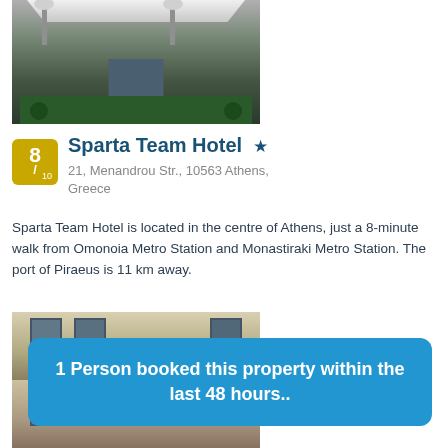[Figure (photo): Hotel entrance with awning, decorative lamps, plants, and glass door]
Sparta Team Hotel ★
21, Menandrou Str., 10563 Athens, Greece
Sparta Team Hotel is located in the centre of Athens, just a 8-minute walk from Omonoia Metro Station and Monastiraki Metro Station. The port of Piraeus is 11 km away.
[Figure (photo): Exterior building facade photos]
1 Person booked this property within the last 48 hours..